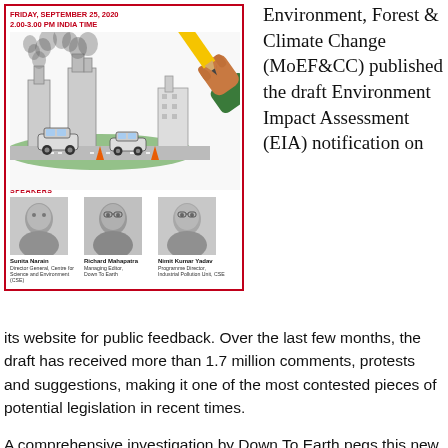[Figure (illustration): Event poster with red border showing industrial pollution scene (factories, cars, smoke), speakers section with three photos (Sunita Narain, Richard Mahapatra, Nimit Kumar Yadav), and a hand holding a pencil labeled EIA. Event date: Friday September 25, 2020, 2:00-3:00 PM India Time.]
Environment, Forest & Climate Change (MoEF&CC) published the draft Environment Impact Assessment (EIA) notification on its website for public feedback. Over the last few months, the draft has received more than 1.7 million comments, protests and suggestions, making it one of the most contested pieces of potential legislation in recent times.
A comprehensive investigation by Down To Earth pegs this new notification as another effort — among many — to dilute the